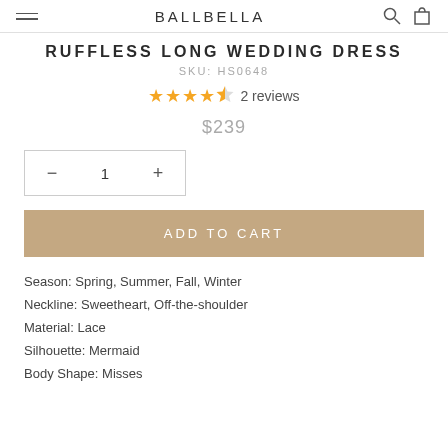BALLBELLA
RUFFLESS LONG WEDDING DRESS
SKU: HS0648
4.5 stars — 2 reviews
$239
Quantity selector: − 1 +
ADD TO CART
Season: Spring, Summer, Fall, Winter
Neckline: Sweetheart, Off-the-shoulder
Material: Lace
Silhouette: Mermaid
Body Shape: Misses